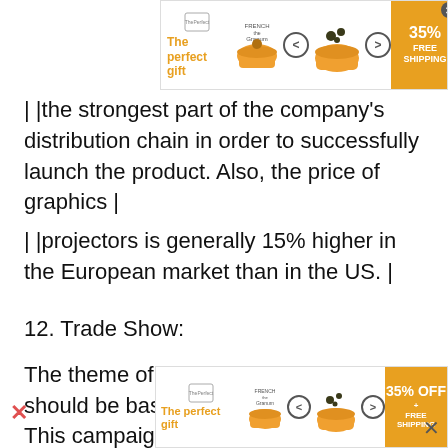[Figure (other): Advertisement banner at top: 'The perfect gift' with pot image, navigation arrows, 35% FREE SHIPPING offer]
| |the strongest part of the company's distribution chain in order to successfully launch the product. Also, the price of graphics |
| |projectors is generally 15% higher in the European market than in the US. |
12. Trade Show:
The theme of Barco's trade show booth should be based on a red carpet event. This campaign would begin before Infocomm with personalized invitations mailed out to customers and prospects. At the show itself, BPS will have a red carpet leading up to its booth to make customers feel lik
[Figure (other): Advertisement banner at bottom: 'The perfect gift' with pot image, navigation arrows, 35% OFF FREE SHIPPING offer]